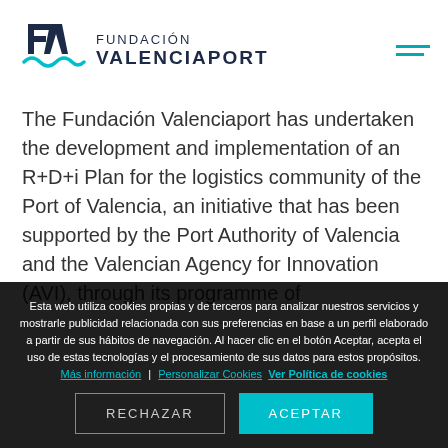[Figure (logo): Fundación Valenciaport logo with stylized F+V mark and teal wave, and hamburger menu icon]
The Fundación Valenciaport has undertaken the development and implementation of an R+D+i Plan for the logistics community of the Port of Valencia, an initiative that has been supported by the Port Authority of Valencia and the Valencian Agency for Innovation (AVI), through its programme of
Esta web utiliza cookies propias y de terceros para analizar nuestros servicios y mostrarle publicidad relacionada con sus preferencias en base a un perfil elaborado a partir de sus hábitos de navegación. Al hacer clic en el botón Aceptar, acepta el uso de estas tecnologías y el procesamiento de sus datos para estos propósitos. Más información | Personalizar Cookies  Ver Política de cookies
RECHAZAR | ACEPTAR